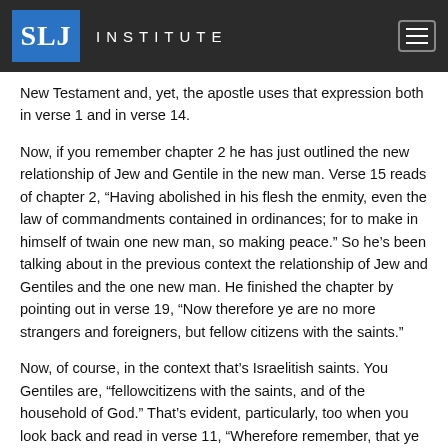SLJ INSTITUTE
New Testament and, yet, the apostle uses that expression both in verse 1 and in verse 14.
Now, if you remember chapter 2 he has just outlined the new relationship of Jew and Gentile in the new man. Verse 15 reads of chapter 2, “Having abolished in his flesh the enmity, even the law of commandments contained in ordinances; for to make in himself of twain one new man, so making peace.” So he’s been talking about in the previous context the relationship of Jew and Gentiles and the one new man. He finished the chapter by pointing out in verse 19, “Now therefore ye are no more strangers and foreigners, but fellow citizens with the saints.”
Now, of course, in the context that’s Israelitish saints. You Gentiles are, “fellowcitizens with the saints, and of the household of God.” That’s evident, particularly, too when you look back and read in verse 11, “Wherefore remember, that ye being in time past Gentiles in the flesh.” Well, at that time verse 12, “you were without Christ,